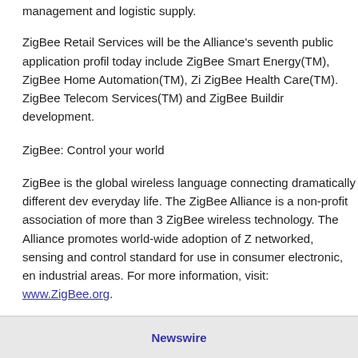handheld devices, point of sale, carts, refrigeration, HVAC, lighting, building management and logistic supply.
ZigBee Retail Services will be the Alliance's seventh public application profile today include ZigBee Smart Energy(TM), ZigBee Home Automation(TM), ZigBee Health Care(TM). ZigBee Telecom Services(TM) and ZigBee Building development.
ZigBee: Control your world
ZigBee is the global wireless language connecting dramatically different devices in everyday life. The ZigBee Alliance is a non-profit association of more than 3 ZigBee wireless technology. The Alliance promotes world-wide adoption of ZigBee networked, sensing and control standard for use in consumer electronic, en industrial areas. For more information, visit: www.ZigBee.org.
SOURCE: ZigBee Alliance
CONTACT: Kevin Schader of ZigBee Alliance, +1-925-275-6672,kschader@ GolinHarris, +1-714-918-8215,etang@golinharris.com, for ZigBee Alliance
Newswire